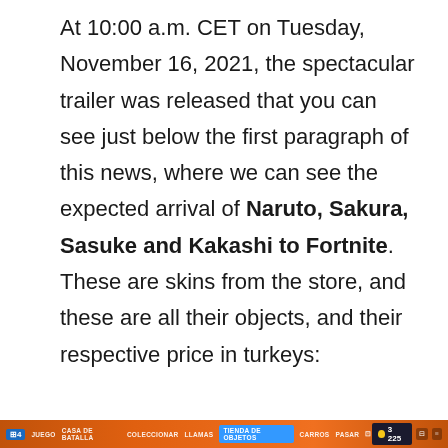At 10:00 a.m. CET on Tuesday, November 16, 2021, the spectacular trailer was released that you can see just below the first paragraph of this news, where we can see the expected arrival of Naruto, Sakura, Sasuke and Kakashi to Fortnite. These are skins from the store, and these are all their objects, and their respective price in turkeys:
[Figure (screenshot): Fortnite game UI bar at the bottom showing game menu with blue icon, menu items including TIENDA DE OBJETOS highlighted in blue, and coin count showing 3,225 on the right side]